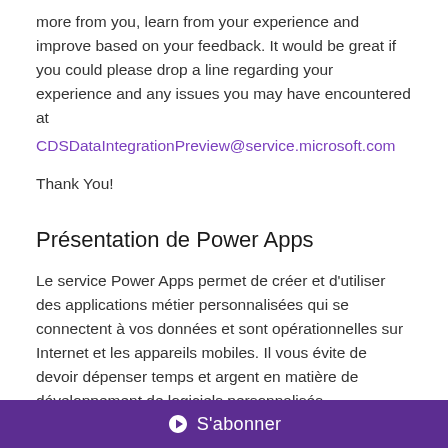more from you, learn from your experience and improve based on your feedback. It would be great if you could please drop a line regarding your experience and any issues you may have encountered at
CDSDataIntegrationPreview@service.microsoft.com
Thank You!
Présentation de Power Apps
Le service Power Apps permet de créer et d'utiliser des applications métier personnalisées qui se connectent à vos données et sont opérationnelles sur Internet et les appareils mobiles. Il vous évite de devoir dépenser temps et argent en matière de développement de logiciels personnalisés.
En savoir plus
[Figure (other): Purple footer bar with Microsoft Power Apps logo icon and text 'S'abonner']